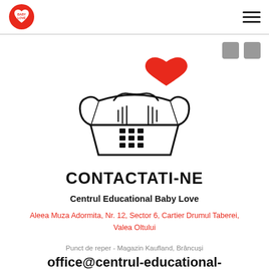Baby Love logo and navigation menu
[Figure (illustration): A black and white illustration of a vintage telephone handset with a red heart above it, centered on the page]
CONTACTATI-NE
Centrul Educational Baby Love
Aleea Muza Adormita, Nr. 12, Sector 6, Cartier Drumul Taberei, Valea Oltului
Punct de reper - Magazin Kaufland, Brâncuși
office@centrul-educational-